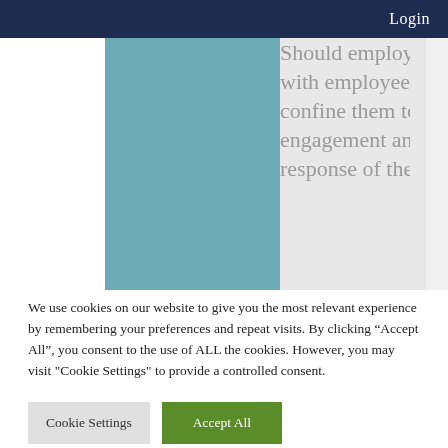Login
Should employers open a separate dialogue with employees on these subjects or try to confine them to more traditional forms of engagement and labour relations? What is the response of the trade union movement? Is there
We use cookies on our website to give you the most relevant experience by remembering your preferences and repeat visits. By clicking “Accept All”, you consent to the use of ALL the cookies. However, you may visit "Cookie Settings" to provide a controlled consent.
Cookie Settings
Accept All